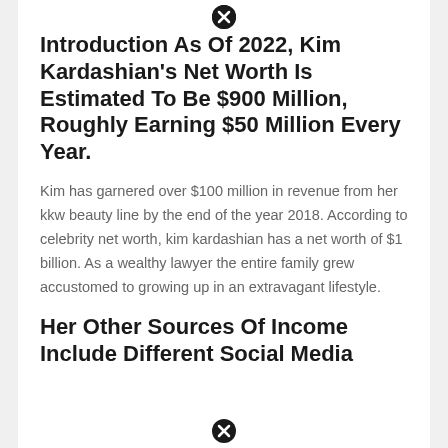Introduction As Of 2022, Kim Kardashian's Net Worth Is Estimated To Be $900 Million, Roughly Earning $50 Million Every Year.
Kim has garnered over $100 million in revenue from her kkw beauty line by the end of the year 2018. According to celebrity net worth, kim kardashian has a net worth of $1 billion. As a wealthy lawyer the entire family grew accustomed to growing up in an extravagant lifestyle.
Her Other Sources Of Income Include Different Social Media